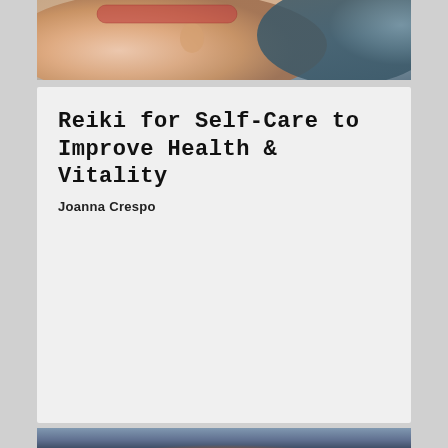[Figure (photo): Close-up photo of a person lying down with a red bandana headband, skin and ear visible, receiving a wellness or relaxation treatment]
Reiki for Self-Care to Improve Health & Vitality
Joanna Crespo
[Figure (photo): Atmospheric photo showing a glowing arc of light (sunrise or sunset) against a dark blue-grey sky]